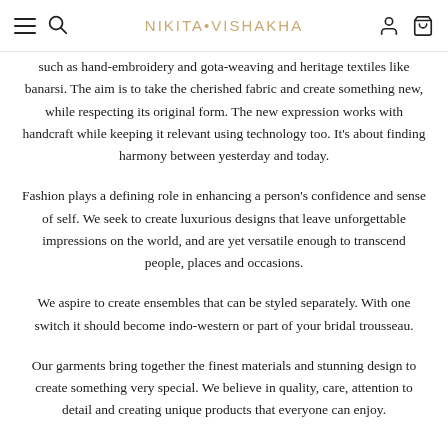NIKITA•VISHAKHA
such as hand-embroidery and gota-weaving and heritage textiles like banarsi. The aim is to take the cherished fabric and create something new, while respecting its original form. The new expression works with handcraft while keeping it relevant using technology too. It's about finding harmony between yesterday and today.
Fashion plays a defining role in enhancing a person's confidence and sense of self. We seek to create luxurious designs that leave unforgettable impressions on the world, and are yet versatile enough to transcend people, places and occasions.
We aspire to create ensembles that can be styled separately. With one switch it should become indo-western or part of your bridal trousseau.
Our garments bring together the finest materials and stunning design to create something very special. We believe in quality, care, attention to detail and creating unique products that everyone can enjoy.